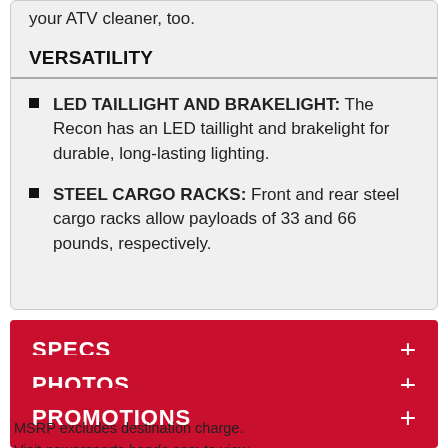your ATV cleaner, too.
VERSATILITY
LED TAILLIGHT AND BRAKELIGHT: The Recon has an LED taillight and brakelight for durable, long-lasting lighting.
STEEL CARGO RACKS: Front and rear steel cargo racks allow payloads of 33 and 66 pounds, respectively.
SPECS +
PHOTOS +
PROMOTIONS +
MSRP excludes destination charge.
Visit powersports.honda.com to view